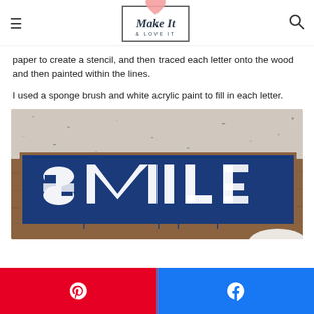Make It & Love It
paper to create a stencil, and then traced each letter onto the wood and then painted within the lines.
I used a sponge brush and white acrylic paint to fill in each letter.
[Figure (photo): A rectangular wooden board with a navy blue background painted with white letters reading 'SMILE', sitting on a wooden surface next to a granite countertop. The letters appear freshly painted with a sponge brush.]
Pinterest and Facebook share buttons